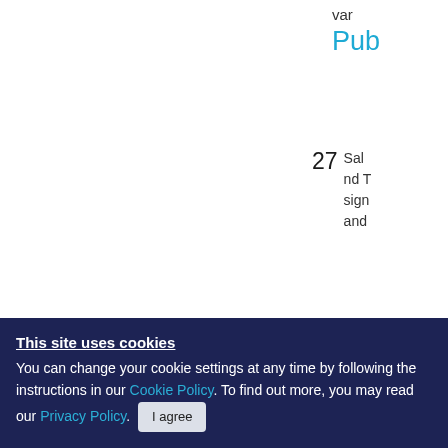var...
Pub...
27  Sal... nd T... sign... and...
28  Bill... n g... ogle...
29  Goo... AM...
This site uses cookies
You can change your cookie settings at any time by following the instructions in our Cookie Policy. To find out more, you may read our Privacy Policy.
I agree